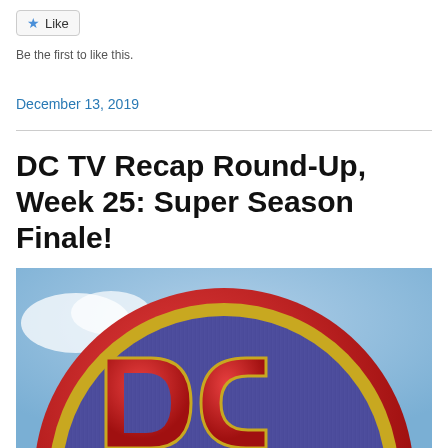Like
Be the first to like this.
December 13, 2019
DC TV Recap Round-Up, Week 25: Super Season Finale!
[Figure (photo): DC Comics logo — a red circular badge with a blue textured interior and gold-outlined red DC letters, against a light blue sky background with clouds]